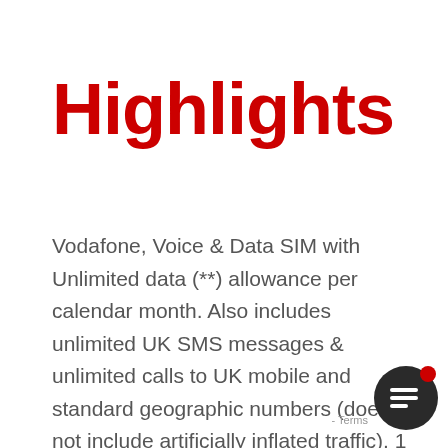Highlights
Vodafone, Voice & Data SIM with Unlimited data (**) allowance per calendar month. Also includes unlimited UK SMS messages & unlimited calls to UK mobile and standard geographic numbers (does not include artificially inflated traffic). 1 month minimum term.Only new activations and ports are available on this tariff. Migrations and tariff changes (i.e. orders for customers already on